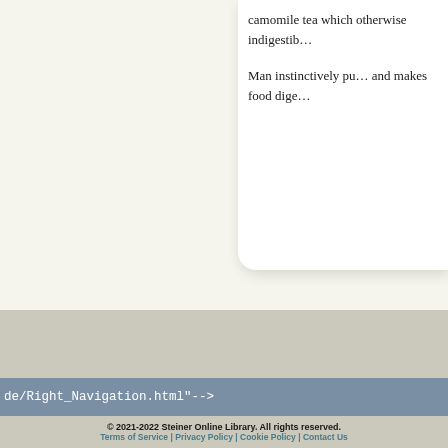camomile tea which otherwise indigestib...
Man instinctively pu... and makes food dige...
de/Right_Navigation.html"-->
© 2021-2022 Steiner Online Library. All rights reserved. | Terms of Service | Privacy Policy | Cookie Policy | Contact Us